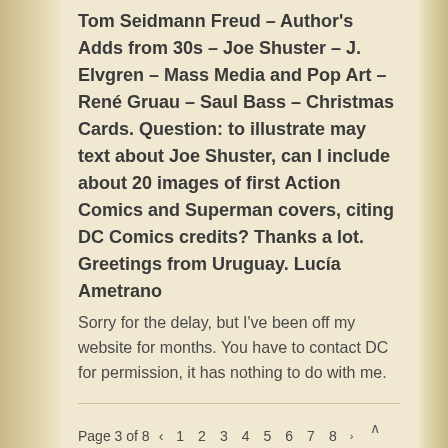Tom Seidmann Freud – Author's Adds from 30s – Joe Shuster – J. Elvgren – Mass Media and Pop Art – René Gruau – Saul Bass – Christmas Cards. Question: to illustrate may text about Joe Shuster, can I include about 20 images of first Action Comics and Superman covers, citing DC Comics credits? Thanks a lot. Greetings from Uruguay. Lucía Ametrano
Sorry for the delay, but I've been off my website for months. You have to contact DC for permission, it has nothing to do with me.
Page 3 of 8  ‹  1  2  3  4  5  6  7  8  ›